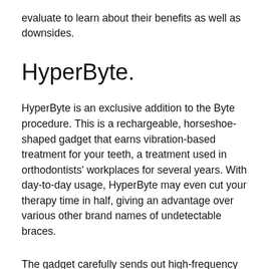evaluate to learn about their benefits as well as downsides.
HyperByte.
HyperByte is an exclusive addition to the Byte procedure. This is a rechargeable, horseshoe-shaped gadget that earns vibration-based treatment for your teeth, a treatment used in orthodontists' workplaces for several years. With day-to-day usage, HyperByte may even cut your therapy time in half, giving an advantage over various other brand names of undetectable braces.
The gadget carefully sends out high-frequency resonances through the aligners